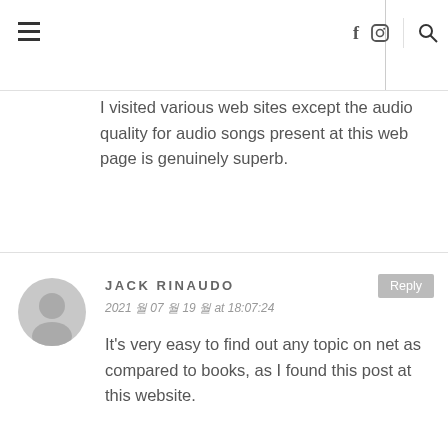I visited various web sites except the audio quality for audio songs present at this web page is genuinely superb.
JACK RINAUDO
2021 월 07 월 19 월 at 18:07:24
Reply
It's very easy to find out any topic on net as compared to books, as I found this post at this website.